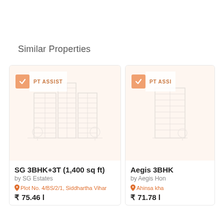Similar Properties
[Figure (screenshot): Property listing card for SG 3BHK+3T (1,400 sq ft) by SG Estates with PT ASSIST badge and building placeholder image]
SG 3BHK+3T (1,400 sq ft)
by SG Estates
Plot No. 4/BS/2/1, Siddhartha Vihar
₹ 75.46 l
[Figure (screenshot): Partial property listing card for Aegis 3BHK by Aegis Homes with PT ASSIST badge, partially visible]
Aegis 3BHK
by Aegis Hom
Ahinsa kha
₹ 71.78 l